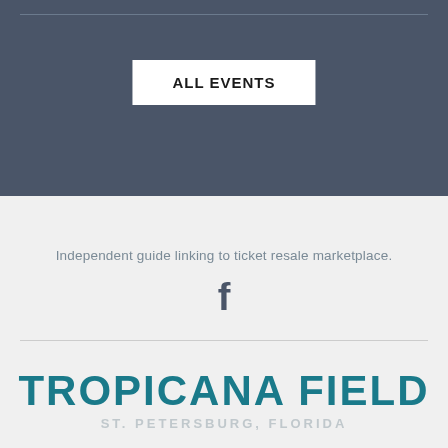ALL EVENTS
Independent guide linking to ticket resale marketplace.
[Figure (logo): Facebook 'f' icon in dark slate color]
TROPICANA FIELD
ST. PETERSBURG, FLORIDA